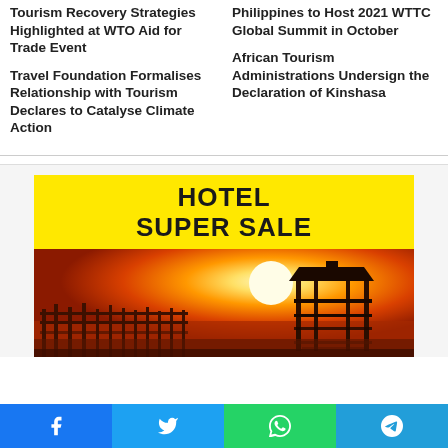Tourism Recovery Strategies Highlighted at WTO Aid for Trade Event
Philippines to Host 2021 WTTC Global Summit in October
Travel Foundation Formalises Relationship with Tourism Declares to Catalyse Climate Action
African Tourism Administrations Undersign the Declaration of Kinshasa
[Figure (illustration): Hotel Super Sale advertisement banner with yellow header text and a sunset photo of a wooden bridge/pier with a pavilion silhouette against an orange sky.]